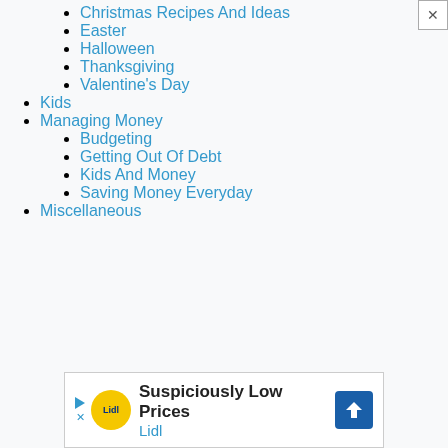Christmas Recipes And Ideas
Easter
Halloween
Thanksgiving
Valentine's Day
Kids
Managing Money
Budgeting
Getting Out Of Debt
Kids And Money
Saving Money Everyday
Miscellaneous
[Figure (other): Lidl advertisement banner: Suspiciously Low Prices, Lidl logo with yellow circle, blue direction sign icon]